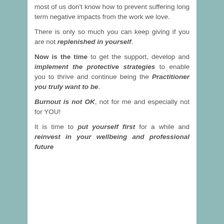most of us don't know how to prevent suffering long term negative impacts from the work we love.
There is only so much you can keep giving if you are not replenished in yourself.
Now is the time to get the support, develop and implement the protective strategies to enable you to thrive and continue being the Practitioner you truly want to be.
Burnout is not OK, not for me and especially not for YOU!
It is time to put yourself first for a while and reinvest in your wellbeing and professional future